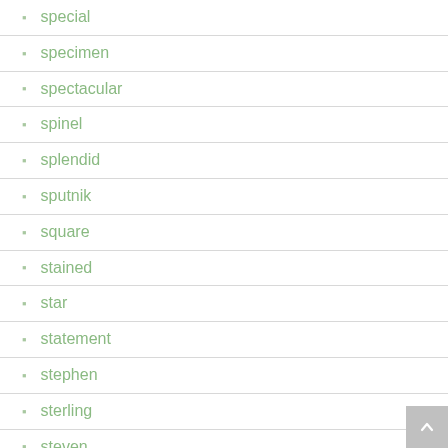special
specimen
spectacular
spinel
splendid
sputnik
square
stained
star
statement
stephen
sterling
steven
stingray